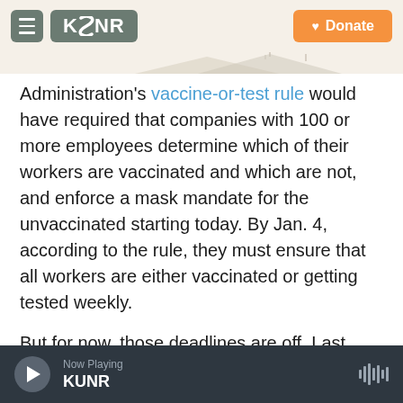KUNR - Donate
Administration's vaccine-or-test rule would have required that companies with 100 or more employees determine which of their workers are vaccinated and which are not, and enforce a mask mandate for the unvaccinated starting today. By Jan. 4, according to the rule, they must ensure that all workers are either vaccinated or getting tested weekly.
But for now, those deadlines are off. Last month, a federal appeals court issued a stay, citing "grave statutory and constitutional issues with the Mandate."
Now Playing KUNR